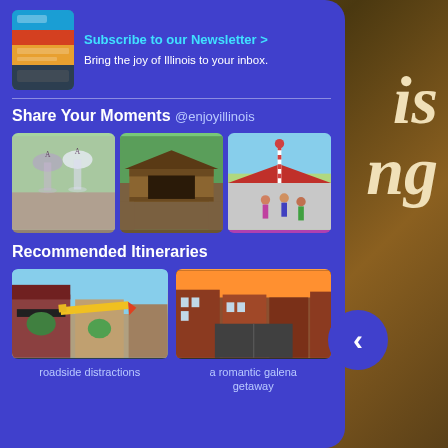[Figure (photo): Background image of autumn forest with orange and brown foliage, partially visible on right side]
is
ng
[Figure (photo): Newsletter promotional image showing magazine/app cover]
Subscribe to our Newsletter >
Bring the joy of Illinois to your inbox.
Share Your Moments @enjoyillinois
[Figure (photo): Three social media photos: two wine glasses with 'A' monogram on grass, a covered wooden bridge, and children at a festival with candy cane decorations]
Recommended Itineraries
[Figure (photo): Photo of downtown street with large pencil sculpture, brick buildings]
roadside distractions
[Figure (photo): Aerial view of Galena Illinois downtown street with brick buildings and cars]
a romantic galena getaway
[Figure (other): Navigation arrow button pointing left]